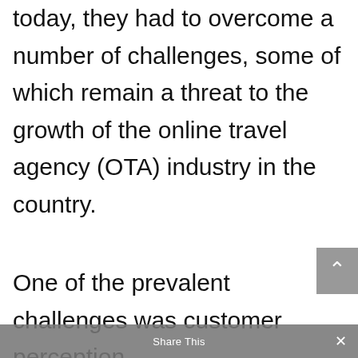today, they had to overcome a number of challenges, some of which remain a threat to the growth of the online travel agency (OTA) industry in the country.
One of the prevalent challenges was customer perception.
“Despite the fact that our e-commerce industry has been in
Share This